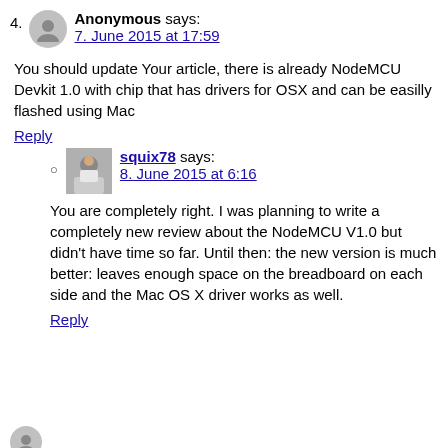4. Anonymous says: 7. June 2015 at 17:59
You should update Your article, there is already NodeMCU Devkit 1.0 with chip that has drivers for OSX and can be easily flashed using Mac
Reply
squix78 says: 8. June 2015 at 6:16
You are completely right. I was planning to write a completely new review about the NodeMCU V1.0 but didn't have time so far. Until then: the new version is much better: leaves enough space on the breadboard on each side and the Mac OS X driver works as well.
Reply